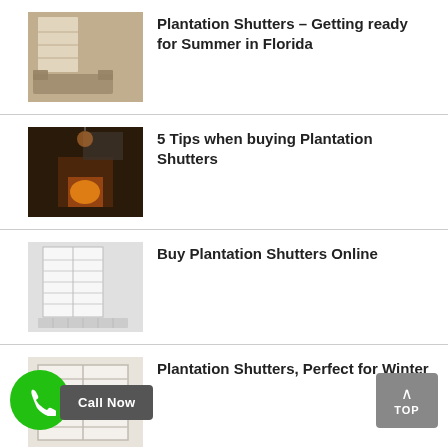Plantation Shutters – Getting ready for Summer in Florida
5 Tips when buying Plantation Shutters
Buy Plantation Shutters Online
Plantation Shutters, Perfect for Winter